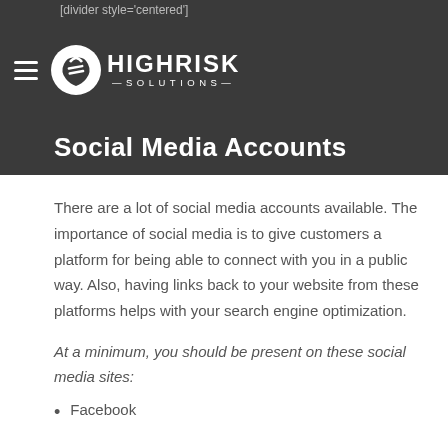[divider style='centered']
[Figure (logo): High Risk Solutions logo with hamburger menu icon and section title 'Social Media Accounts']
Social Media Accounts
There are a lot of social media accounts available. The importance of social media is to give customers a platform for being able to connect with you in a public way. Also, having links back to your website from these platforms helps with your search engine optimization.
At a minimum, you should be present on these social media sites:
Facebook